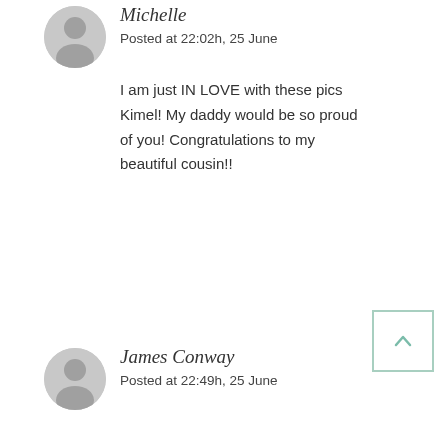[Figure (illustration): Gray circular avatar with person silhouette icon for Michelle]
Michelle
Posted at 22:02h, 25 June
I am just IN LOVE with these pics Kimel! My daddy would be so proud of you! Congratulations to my beautiful cousin!!
[Figure (illustration): Back to top button with upward arrow in teal/green border]
[Figure (illustration): Gray circular avatar with person silhouette icon for James Conway]
James Conway
Posted at 22:49h, 25 June